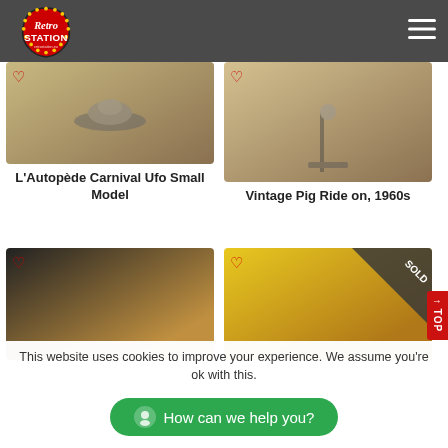Retro Station retrostation.eu
[Figure (photo): L'Autopède Carnival UFO Small Model product photo]
L'Autopède Carnival Ufo Small Model
[Figure (photo): Vintage Pig Ride on, 1960s product photo]
Vintage Pig Ride on, 1960s
[Figure (photo): Seal toy product photo]
[Figure (photo): Yellow plane ride-on toy product photo, marked SOLD]
This website uses cookies to improve your experience. We assume you're ok with this.
How can we help you?